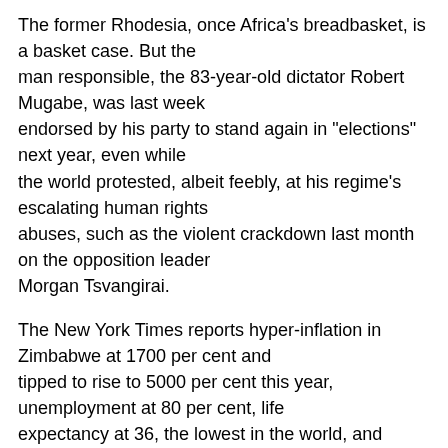The former Rhodesia, once Africa's breadbasket, is a basket case. But the man responsible, the 83-year-old dictator Robert Mugabe, was last week endorsed by his party to stand again in "elections" next year, even while the world protested, albeit feebly, at his regime's escalating human rights abuses, such as the violent crackdown last month on the opposition leader Morgan Tsvangirai.
The New York Times reports hyper-inflation in Zimbabwe at 1700 per cent and tipped to rise to 5000 per cent this year, unemployment at 80 per cent, life expectancy at 36, the lowest in the world, and malnutrition and starvation as orphaned children scavenge in rubbish heaps for food.
Ndou was detained and tortured by Mugabe's henchmen after the rigged elections of 2000, when he refused to help drum up support for the